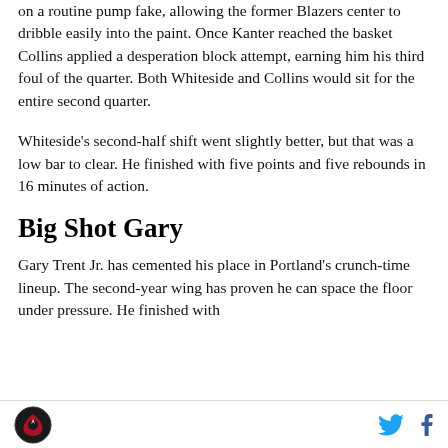on a routine pump fake, allowing the former Blazers center to dribble easily into the paint. Once Kanter reached the basket Collins applied a desperation block attempt, earning him his third foul of the quarter. Both Whiteside and Collins would sit for the entire second quarter.
Whiteside's second-half shift went slightly better, but that was a low bar to clear. He finished with five points and five rebounds in 16 minutes of action.
Big Shot Gary
Gary Trent Jr. has cemented his place in Portland's crunch-time lineup. The second-year wing has proven he can space the floor under pressure. He finished with
[Blazers logo] [Twitter icon] [Facebook icon]